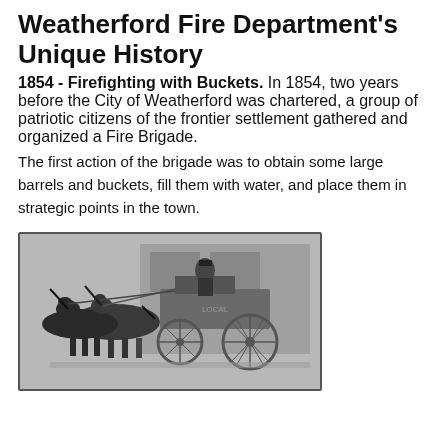Weatherford Fire Department's Unique History
1854 - Firefighting with Buckets. In 1854, two years before the City of Weatherford was chartered, a group of patriotic citizens of the frontier settlement gathered and organized a Fire Brigade.
The first action of the brigade was to obtain some large barrels and buckets, fill them with water, and place them in strategic points in the town.
[Figure (photo): Historical black and white photograph of a horse-drawn fire engine with a driver seated on top, showing two horses and large spoke wheels, in front of a building.]